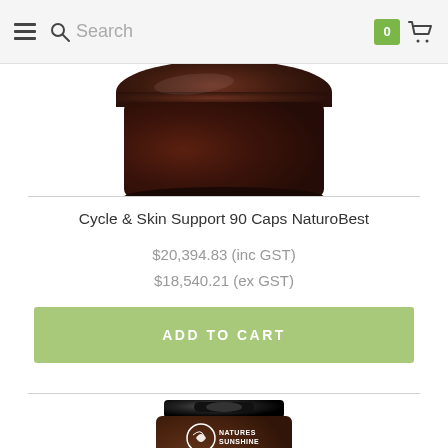Search | 0 cart
[Figure (photo): Bottom portion of a dark brown supplement bottle with brown cap, partially cropped at top]
Cycle & Skin Support 90 Caps NaturoBest
$20,394.83 (inc GST)
$18,540.21 (ex GST)
ADD TO CART
[Figure (photo): Nature's Sunshine Cat's Claw Combination Una de Gato supplement bottle with black cap, brown label, teal banner reading ENHANCES IMMUNE DEFENCE, partially cropped at bottom]